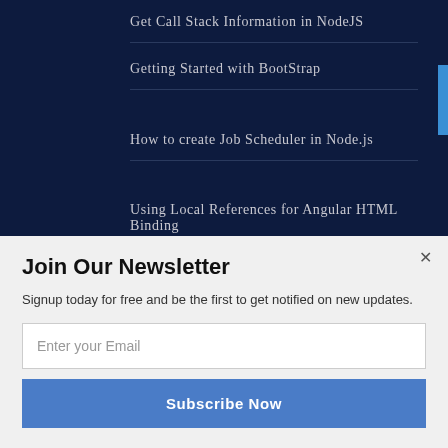Get Call Stack Information in NodeJS
Getting Started with BootStrap
How to create Job Scheduler in Node.js
Using Local References for Angular HTML Binding
Popular Posts in Last 30 Days
Get Call Stack Information in NodeJS
Join Our Newsletter
Signup today for free and be the first to get notified on new updates.
Enter your Email
Subscribe Now